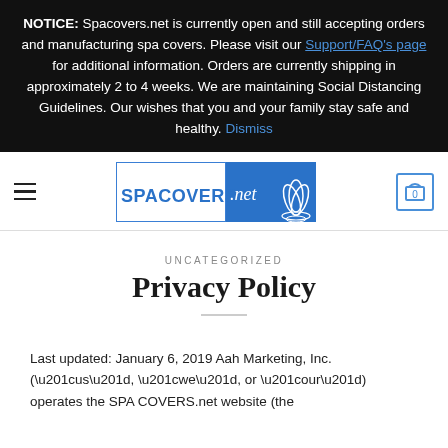NOTICE: Spacovers.net is currently open and still accepting orders and manufacturing spa covers. Please visit our Support/FAQ's page for additional information. Orders are currently shipping in approximately 2 to 4 weeks. We are maintaining Social Distancing Guidelines. Our wishes that you and your family stay safe and healthy. Dismiss
[Figure (logo): Spacovers.net logo — blue rectangle with white SPACOVERS text and .net in white script on blue background, with a blue lotus/spa leaf graphic]
UNCATEGORIZED
Privacy Policy
Last updated: January 6, 2019 Aah Marketing, Inc. (“us”, “we”, or “our”) operates the SPA COVERS.net website (the